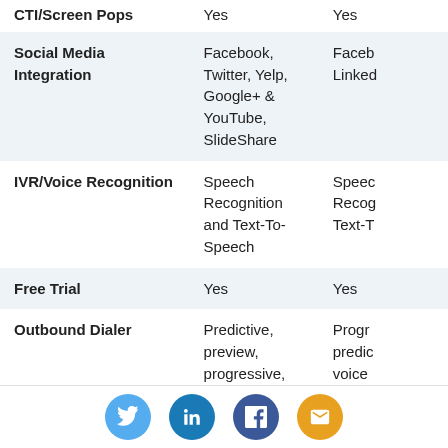| Feature | Column 1 | Column 2 |
| --- | --- | --- |
| CTI/Screen Pops | Yes | Yes |
| Social Media Integration | Facebook, Twitter, Yelp, Google+ & YouTube, SlideShare | Faceb... Linked... |
| IVR/Voice Recognition | Speech Recognition and Text-To-Speech | Speec... Recog... Text-T... |
| Free Trial | Yes | Yes |
| Outbound Dialer | Predictive, preview, progressive, power | Progr... predic... voice... |
Both inContact and Five9 are compatible with hundreds of third-party integrations. But they write
Social share icons: Twitter, LinkedIn, Facebook, Email